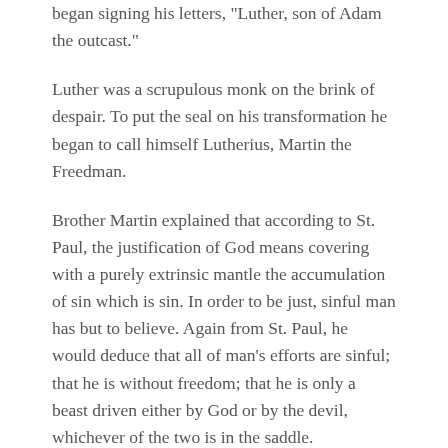began signing his letters, "Luther, son of Adam the outcast."
Luther was a scrupulous monk on the brink of despair. To put the seal on his transformation he began to call himself Lutherius, Martin the Freedman.
Brother Martin explained that according to St. Paul, the justification of God means covering with a purely extrinsic mantle the accumulation of sin which is sin. In order to be just, sinful man has but to believe. Again from St. Paul, he would deduce that all of man's efforts are sinful; that he is without freedom; that he is only a beast driven either by God or by the devil, whichever of the two is in the saddle.
"Everything comes from grace, nothing comes from works, and the gift of grace is the act of God alone. All that man will be or do has been determined for him in advance from all eternity, and we and our works are therefore nothing."